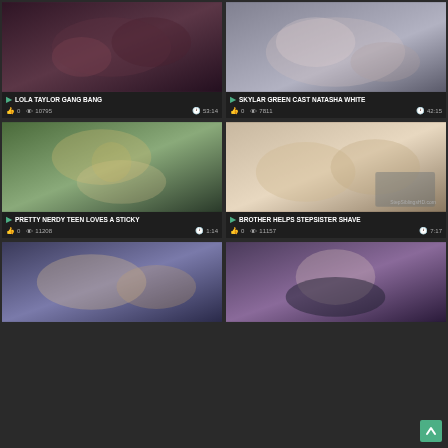[Figure (screenshot): Video thumbnail 1 - dark scene]
LOLA TAYLOR GANG BANG
0  10795  53:14
[Figure (screenshot): Video thumbnail 2 - light scene]
SKYLAR GREEN CAST NATASHA WHITE
0  7811  42:15
[Figure (screenshot): Video thumbnail 3 - close up scene]
PRETTY NERDY TEEN LOVES A STICKY
0  11208  1:14
[Figure (screenshot): Video thumbnail 4 - bathroom scene]
BROTHER HELPS STEPSISTER SHAVE
0  11157  7:17
[Figure (screenshot): Video thumbnail 5 - bedroom scene]
[Figure (screenshot): Video thumbnail 6 - solo scene]